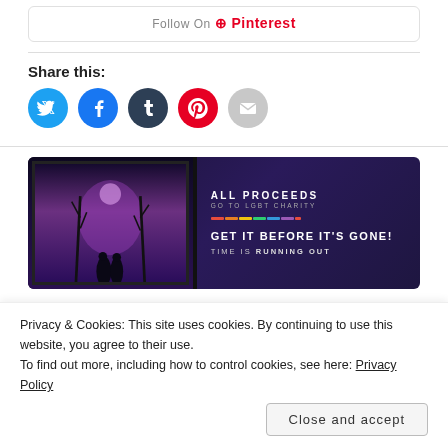[Figure (other): Pinterest Follow On button bar with rounded border]
Share this:
[Figure (other): Social share buttons: Twitter (blue circle), Facebook (blue circle), Tumblr (dark blue circle), Pinterest (red circle), Email (gray circle)]
[Figure (other): Advertisement banner: dark purple background, silhouettes of two people, 'ALL PROCEEDS GO TO LGBT CHARITY', rainbow line, 'GET IT BEFORE IT'S GONE! TIME IS RUNNING OUT']
Privacy & Cookies: This site uses cookies. By continuing to use this website, you agree to their use. To find out more, including how to control cookies, see here: Privacy Policy